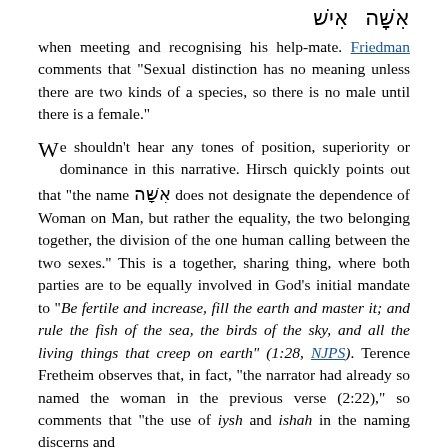[Hebrew text] when meeting and recognising his help-mate. Friedman comments that "Sexual distinction has no meaning unless there are two kinds of a species, so there is no male until there is a female."
We shouldn't hear any tones of position, superiority or dominance in this narrative. Hirsch quickly points out that "the name אִשָּׁה does not designate the dependence of Woman on Man, but rather the equality, the two belonging together, the division of the one human calling between the two sexes." This is a together, sharing thing, where both parties are to be equally involved in God's initial mandate to "Be fertile and increase, fill the earth and master it; and rule the fish of the sea, the birds of the sky, and all the living things that creep on earth" (1:28, NJPS). Terence Fretheim observes that, in fact, "the narrator had already so named the woman in the previous verse (2:22)," so comments that "the use of iysh and ishah in the naming discerns and